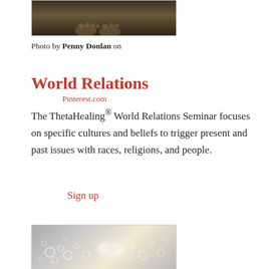[Figure (photo): Top portion of a photo showing feet/barefoot at bottom, dark natural background]
Photo by Penny Donlan on Pinterest.com
World Relations
The ThetaHealing® World Relations Seminar focuses on specific cultures and beliefs to trigger present and past issues with races, religions, and people.
Sign up
[Figure (photo): Bottom photo showing blurry bokeh bubbles/circles on a light background]